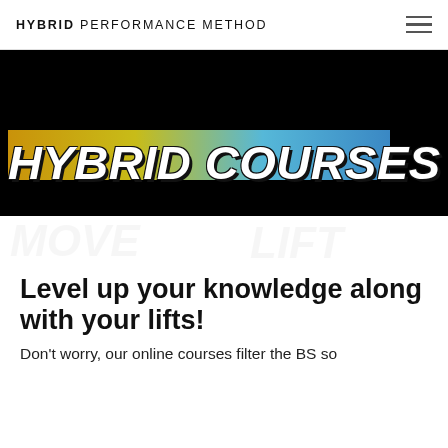HYBRID PERFORMANCE METHOD
[Figure (illustration): Black banner with bold italic text 'HYBRID COURSES' over a yellow-to-blue gradient bar]
Level up your knowledge along with your lifts!
Don't worry, our online courses filter the BS so